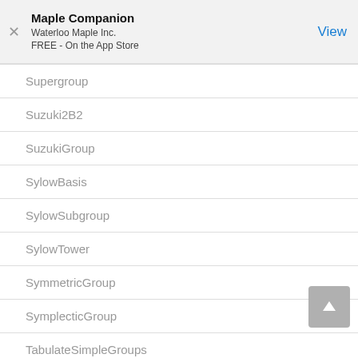Maple Companion
Waterloo Maple Inc.
FREE - On the App Store
Supergroup
Suzuki2B2
SuzukiGroup
SylowBasis
SylowSubgroup
SylowTower
SymmetricGroup
SymplecticGroup
TabulateSimpleGroups